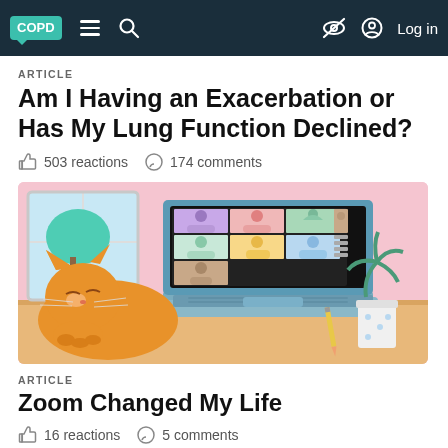COPD | Navigation bar with menu, search, and Log in
ARTICLE
Am I Having an Exacerbation or Has My Lung Function Declined?
503 reactions  174 comments
[Figure (illustration): Illustration of a laptop showing a video call with multiple participants in colored boxes, a sleeping orange cat in the foreground, a plant and pencil on a wood desk, window with green tree in background, pink wall.]
ARTICLE
Zoom Changed My Life
16 reactions  5 comments